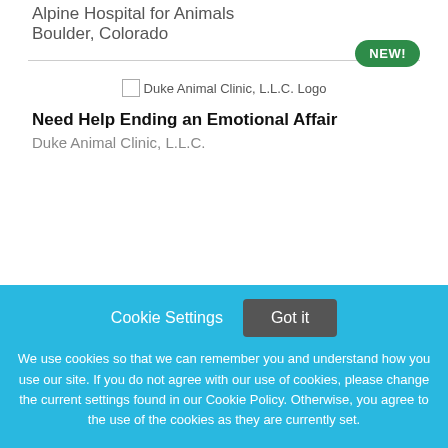Alpine Hospital for Animals
Boulder, Colorado
[Figure (logo): Duke Animal Clinic, L.L.C. Logo placeholder image]
Need Help Ending an Emotional Affair
Duke Animal Clinic, L.L.C.
Cookie Settings   Got it
We use cookies so that we can remember you and understand how you use our site. If you do not agree with our use of cookies, please change the current settings found in our Cookie Policy. Otherwise, you agree to the use of the cookies as they are currently set.